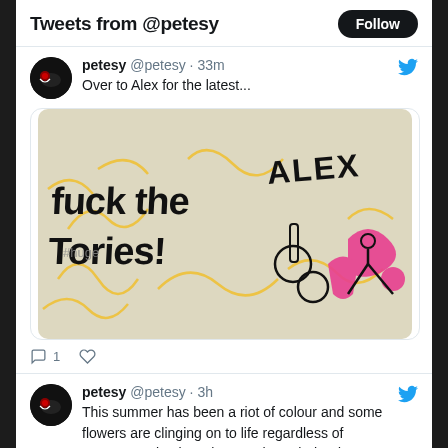Tweets from @petesy
petesy @petesy · 33m
Over to Alex for the latest...
[Figure (photo): Graffiti image reading 'fuck the Tories!' with colourful street art including pink and yellow designs and crude drawings on a beige wall]
1 (comment count) and heart icon
petesy @petesy · 3h
This summer has been a riot of colour and some flowers are clinging on to life regardless of autumn putting its suitcases through the door.